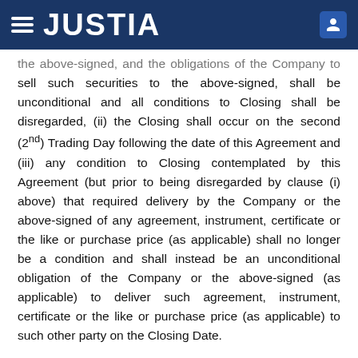JUSTIA
the above-signed, and the obligations of the Company to sell such securities to the above-signed, shall be unconditional and all conditions to Closing shall be disregarded, (ii) the Closing shall occur on the second (2nd) Trading Day following the date of this Agreement and (iii) any condition to Closing contemplated by this Agreement (but prior to being disregarded by clause (i) above) that required delivery by the Company or the above-signed of any agreement, instrument, certificate or the like or purchase price (as applicable) shall no longer be a condition and shall instead be an unconditional obligation of the Company or the above-signed (as applicable) to deliver such agreement, instrument, certificate or the like or purchase price (as applicable) to such other party on the Closing Date.
[SIGNATURE PAGES CONTINUE]